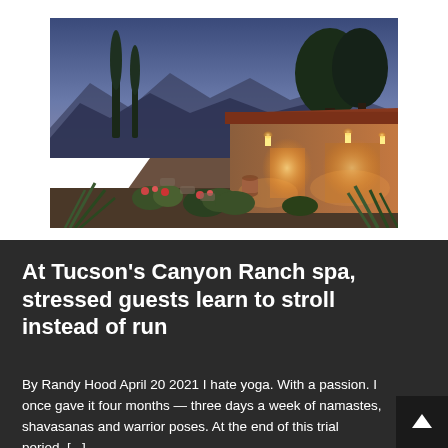[Figure (photo): Exterior photo of Canyon Ranch spa in Tucson at dusk — a low adobe-style building with a red tile roof lit by warm golden lights, surrounded by desert landscaping with cacti, flowering plants, and tall cypress trees, with mountain silhouettes in the background under a blue-purple sky.]
At Tucson's Canyon Ranch spa, stressed guests learn to stroll instead of run
By Randy Hood April 20 2021 I hate yoga. With a passion. I once gave it four months — three days a week of namastes, shavasanas and warrior poses. At the end of this trial period, [...]